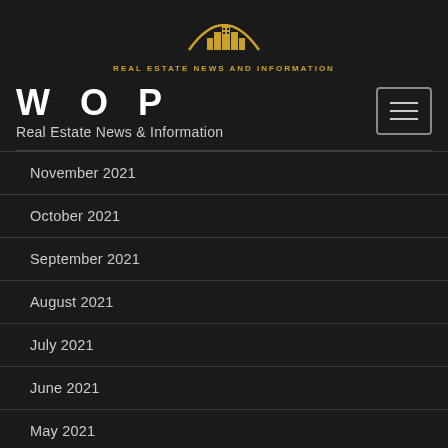[Figure (logo): Real Estate News and Information logo with golden city skyline/mountain arc emblem above text]
W O P
Real Estate News & Information
November 2021
October 2021
September 2021
August 2021
July 2021
June 2021
May 2021
April 2021
March 2021